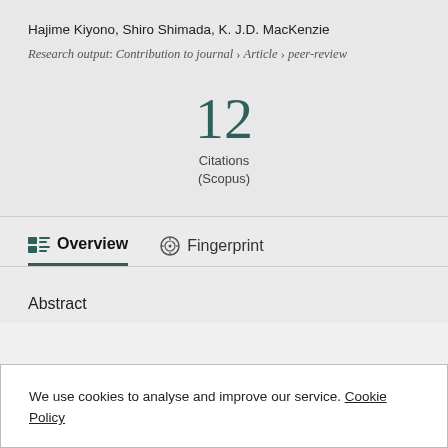Hajime Kiyono, Shiro Shimada, K. J.D. MacKenzie
Research output: Contribution to journal › Article › peer-review
12 Citations (Scopus)
Overview
Fingerprint
Abstract
We use cookies to analyse and improve our service. Cookie Policy